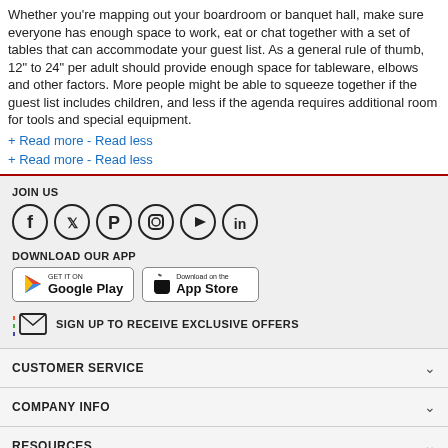Whether you're mapping out your boardroom or banquet hall, make sure everyone has enough space to work, eat or chat together with a set of tables that can accommodate your guest list. As a general rule of thumb, 12" to 24" per adult should provide enough space for tableware, elbows and other factors.  More people might be able to squeeze together if the guest list includes children, and less if the agenda requires additional room for tools and special equipment.
+ Read more - Read less
+ Read more - Read less
JOIN US
[Figure (illustration): Six social media icons in circles: Facebook, Twitter, Pinterest, Instagram, YouTube, LinkedIn]
DOWNLOAD OUR APP
[Figure (illustration): Google Play and App Store download buttons]
SIGN UP TO RECEIVE EXCLUSIVE OFFERS
CUSTOMER SERVICE
COMPANY INFO
RESOURCES